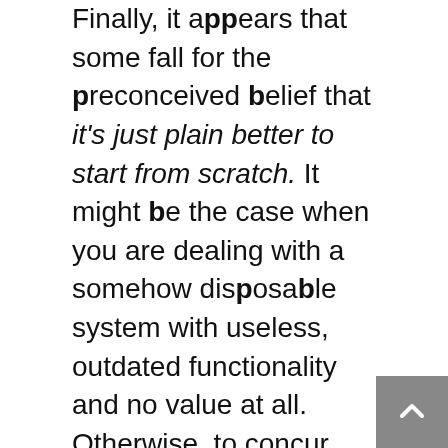Finally, it appears that some fall for the preconceived belief that it's just plain better to start from scratch. It might be the case when you are dealing with a somehow disposable system with useless, outdated functionality and no value at all. Otherwise, to concur with this idea is to simply devalue all of the effort and thought that was put into developing the application, willing to risk years of business knowledge embedded in these systems. The truth is, a rewrite from scratch implies a much more difficult task, even though some may claim that it is balanced out by the fact that you can significantly reduce the total amount of code and fix some of the imperfections that were present in the source application. But that's something you can also perform with an